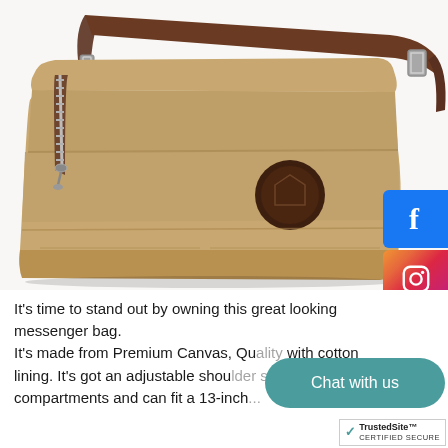[Figure (photo): A khaki/tan canvas messenger bag with brown leather accents, front zipper pocket, adjustable shoulder strap, and a round brand patch on the front flap. White background product photo.]
It's time to stand out by owning this great looking messenger bag.
It's made from Premium Canvas, Qu[ality cotton] with cotton lining. It's got an adjustable shou[lder strap,] numerous compartments and can fit a 13-inch[...]